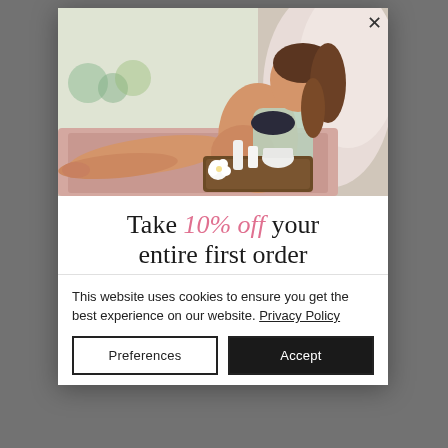[Figure (photo): Pregnant woman reclining on a bed with skin care products on a tray in front of her, wearing a floral kimono and dark bikini top, with a fluffy pink blanket behind her.]
Take 10% off your entire first order
This website uses cookies to ensure you get the best experience on our website. Privacy Policy
Preferences
Accept